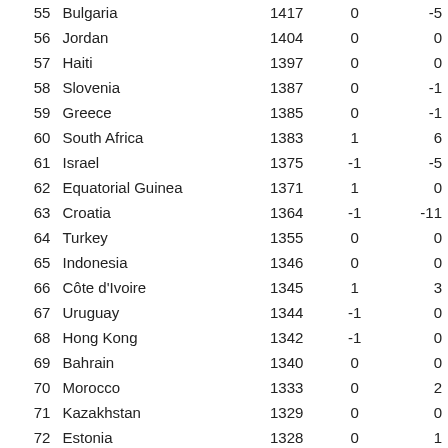| Rank | Country | Rating | Change1 | Change2 |
| --- | --- | --- | --- | --- |
| 55 | Bulgaria | 1417 | 0 | -5 |
| 56 | Jordan | 1404 | 0 | 0 |
| 57 | Haiti | 1397 | 0 | 0 |
| 58 | Slovenia | 1387 | 0 | -1 |
| 59 | Greece | 1385 | 0 | -1 |
| 60 | South Africa | 1383 | 1 | 6 |
| 61 | Israel | 1375 | -1 | -5 |
| 62 | Equatorial Guinea | 1371 | 1 | 0 |
| 63 | Croatia | 1364 | -1 | -11 |
| 64 | Turkey | 1355 | 0 | 0 |
| 65 | Indonesia | 1346 | 0 | 0 |
| 66 | Côte d'Ivoire | 1345 | 1 | 3 |
| 67 | Uruguay | 1344 | -1 | 0 |
| 68 | Hong Kong | 1342 | -1 | 0 |
| 69 | Bahrain | 1340 | 0 | 0 |
| 70 | Morocco | 1333 | 0 | 2 |
| 71 | Kazakhstan | 1329 | 0 | 0 |
| 72 | Estonia | 1328 | 0 | 1 |
| 73 | Tunisia | 1325 | 0 | 0 |
| 74 | Algeria | 1320 | 0 | 0 |
| 75 | Faroe Islands | 1318 | 0 | 0 |
| 76 | Tonga | 1316 | 0 | 0 |